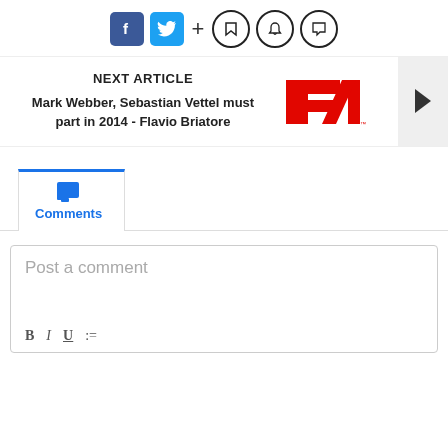[Figure (infographic): Social media sharing icons: Facebook (blue), Twitter (blue), plus sign, bookmark icon, bell icon, chat icon]
[Figure (infographic): Next article navigation panel with F1 logo and arrow button. Headline: Mark Webber, Sebastian Vettel must part in 2014 - Flavio Briatore]
NEXT ARTICLE
Mark Webber, Sebastian Vettel must part in 2014 - Flavio Briatore
Comments
Post a comment